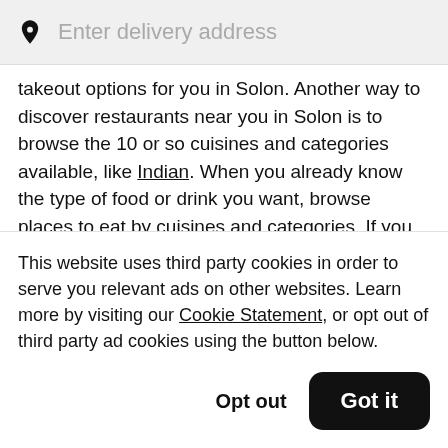Enter delivery address
takeout options for you in Solon. Another way to discover restaurants near you in Solon is to browse the 10 or so cuisines and categories available, like Indian. When you already know the type of food or drink you want, browse places to eat by cuisines and categories. If you want to get your order yourself instead of having it delivered, check out the Solon places to eat, like
This website uses third party cookies in order to serve you relevant ads on other websites. Learn more by visiting our Cookie Statement, or opt out of third party ad cookies using the button below.